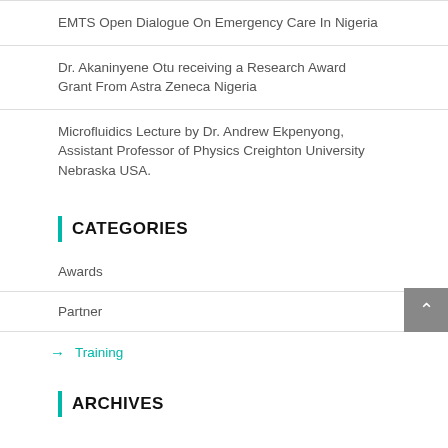EMTS Open Dialogue On Emergency Care In Nigeria
Dr. Akaninyene Otu receiving a Research Award Grant From Astra Zeneca Nigeria
Microfluidics Lecture by Dr. Andrew Ekpenyong, Assistant Professor of Physics Creighton University Nebraska USA.
CATEGORIES
Awards
Partner
→ Training
ARCHIVES